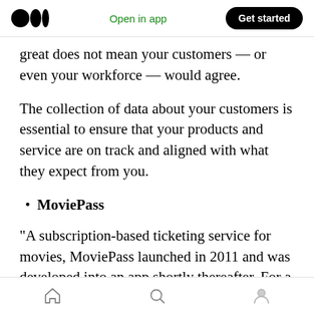Medium logo | Open in app | Get started
great does not mean your customers — or even your workforce — would agree.
The collection of data about your customers is essential to ensure that your products and service are on track and aligned with what they expect from you.
MoviePass
“A subscription-based ticketing service for movies, MoviePass launched in 2011 and was developed into an app shortly thereafter. For a
Home | Search | Profile